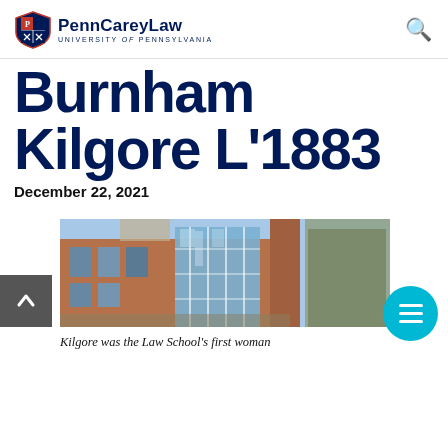Penn Carey Law University of Pennsylvania
Burnham Kilgore L’1883
December 22, 2021
[Figure (photo): Exterior photo of a brick and glass university law school building against a blue sky]
Kilgore was the Law School’s first woman